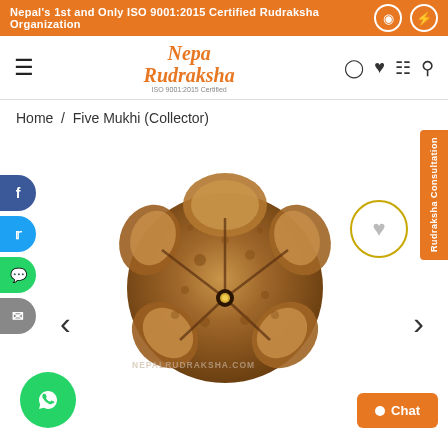Nepal's 1st and Only ISO 9001:2015 Certified Rudraksha Organization
[Figure (logo): Nepa Rudraksha logo with ISO 9001:2015 Certified text]
Home / Five Mukhi (Collector)
[Figure (photo): Five Mukhi Collector Rudraksha bead, brown textured seed with five lobes, gold pin at center, on white background. Watermark: NEPALRUDRAKSHA.COM]